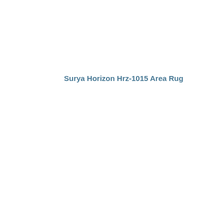Surya Horizon Hrz-1015 Area Rug